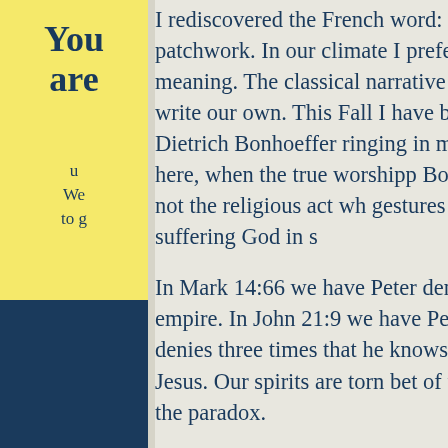You are
u We to g
I rediscovered the French word: Bricolage. The v patchwork. In our climate I prefer patchwork. W create meaning. The classical narrative does not Together we write our own. This Fall I have bee a quote from Dietrich Bonhoeffer ringing in my coming, and is now here, when the true worshipp Bonhoeffer writes: “It is not the religious act wh gestures of solidarity with the suffering God in s
In Mark 14:66 we have Peter denying that he kn fires of empire. In John 21:9 we have Peter on th first fire, Peter denies three times that he knows times that he loves Jesus. Our spirits are torn bet of the Americas we live the paradox.
In New York during 9/11 Rowan Williams Archb on airplanes spoke the language of love to their l